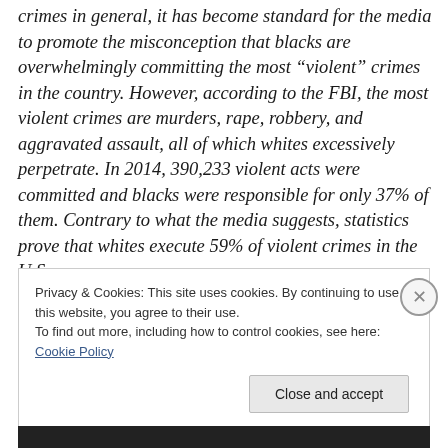crimes in general, it has become standard for the media to promote the misconception that blacks are overwhelmingly committing the most “violent” crimes in the country. However, according to the FBI, the most violent crimes are murders, rape, robbery, and aggravated assault, all of which whites excessively perpetrate. In 2014, 390,233 violent acts were committed and blacks were responsible for only 37% of them. Contrary to what the media suggests, statistics prove that whites execute 59% of violent crimes in the U.S.
Privacy & Cookies: This site uses cookies. By continuing to use this website, you agree to their use.
To find out more, including how to control cookies, see here: Cookie Policy